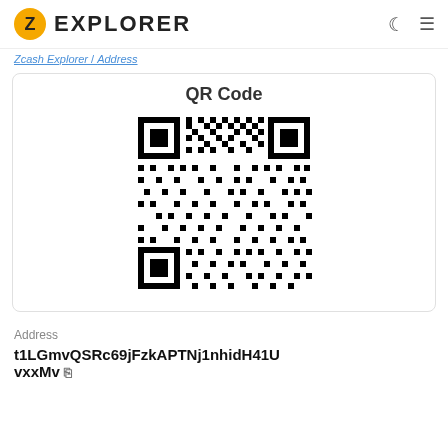Zcash EXPLORER
Zcash Explorer / Address
QR Code
[Figure (other): QR code for Zcash address t1LGmvQSRc69jFzkAPTNj1nhidH41UvxxMv]
Address
t1LGmvQSRc69jFzkAPTNj1nhidH41UvxxMv